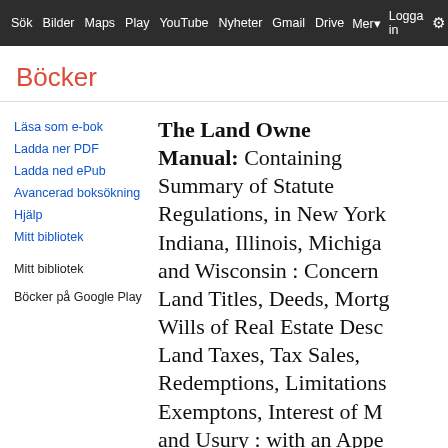Sök  Bilder  Maps  Play  YouTube  Nyheter  Gmail  Drive  Mer  Logga in  ⚙
Böcker
Läsa som e-bok
Ladda ner PDF
Ladda ned ePub
Avancerad boksökning
Hjälp
Mitt bibliotek
Mitt bibliotek
Böcker på Google Play
The Land Owner's Manual: Containing Summary of Statute Regulations, in New York, Indiana, Illinois, Michigan, and Wisconsin : Concerning Land Titles, Deeds, Mortgages, Wills of Real Estate Descents, Land Taxes, Tax Sales, Redemptions, Limitations, Exemptons, Interest of Money and Usury : with an Appendix Containing the Constitution of the Said States